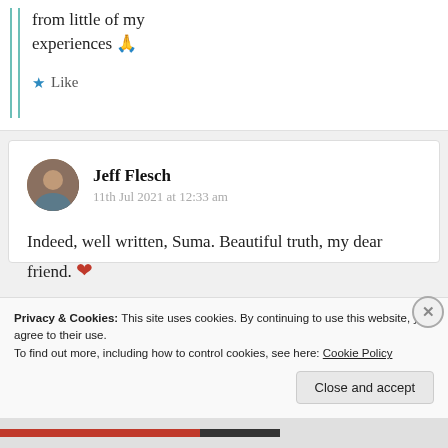from little of my experiences 🙏
★ Like
Jeff Flesch
11th Jul 2021 at 12:33 am
Indeed, well written, Suma. Beautiful truth, my dear friend. ❤
★ Liked by 1 person
Privacy & Cookies: This site uses cookies. By continuing to use this website, you agree to their use.
To find out more, including how to control cookies, see here: Cookie Policy
Close and accept